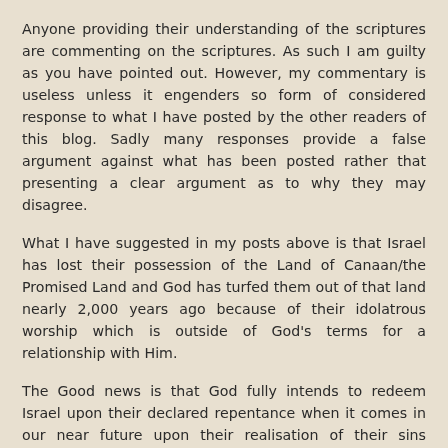Anyone providing their understanding of the scriptures are commenting on the scriptures. As such I am guilty as you have pointed out. However, my commentary is useless unless it engenders so form of considered response to what I have posted by the other readers of this blog. Sadly many responses provide a false argument against what has been posted rather that presenting a clear argument as to why they may disagree.
What I have suggested in my posts above is that Israel has lost their possession of the Land of Canaan/the Promised Land and God has turfed them out of that land nearly 2,000 years ago because of their idolatrous worship which is outside of God's terms for a relationship with Him.
The Good news is that God fully intends to redeem Israel upon their declared repentance when it comes in our near future upon their realisation of their sins against God.
With God all who repent will gain life and no longer be a candidate for the second death which is the consequences for their sins which they have not repented of.